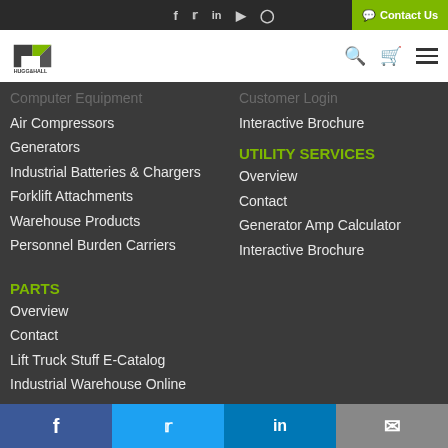Social icons: f, twitter, in, youtube, instagram | Contact Us
[Figure (logo): Hugg & Hall logo - angular geometric shape in dark/green colors with company name]
Computer Equipment (faded/partial)
Air Compressors
Generators
Industrial Batteries & Chargers
Forklift Attachments
Warehouse Products
Personnel Burden Carriers
Customer Login (faded/partial)
Interactive Brochure
UTILITY SERVICES
Overview
Contact
Generator Amp Calculator
Interactive Brochure
PARTS
Overview
Contact
Lift Truck Stuff E-Catalog
Industrial Warehouse Online
Catalog
Interactive Brochure
Social share bar: Facebook, Twitter, LinkedIn, Email